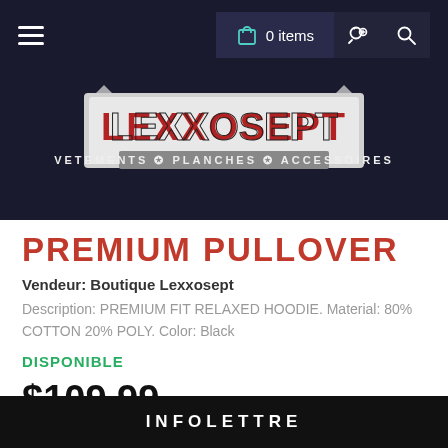0 items
[Figure (logo): Lexxosept logo with stars and text: VETEMENTS / PLANCHES / ACCESSOIRES]
PREMIUM PULLOVER
Vendeur: Boutique Lexxosept
Description: PREMIUM FIT RELAXED HOODIE. Material: 80% COTTON 20% POLY. Color: Black
DISPONIBLE
$109.99
INFOLETTRE